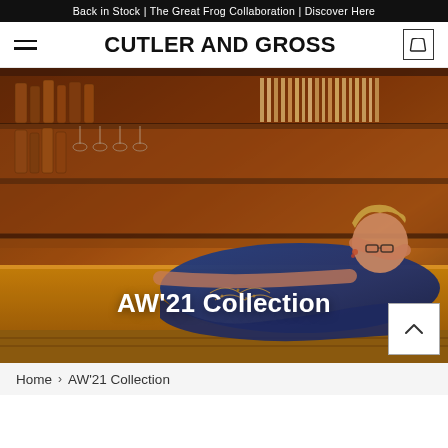Back in Stock | The Great Frog Collaboration | Discover Here
CUTLER AND GROSS
[Figure (photo): A woman in a blue embroidered dress wearing black glasses, reclining on a bar counter with a warm amber-lit bar shelf background.]
AW'21 Collection
Home > AW'21 Collection